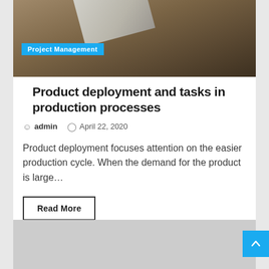[Figure (photo): Photo of wooden planks/desk surface with some papers or cards, used as article header image. Has a 'Project Management' category badge overlaid.]
Product deployment and tasks in production processes
admin   April 22, 2020
Product deployment focuses attention on the easier production cycle. When the demand for the product is large...
Read More
[Figure (photo): Partially visible second article image, gray/light colored background.]